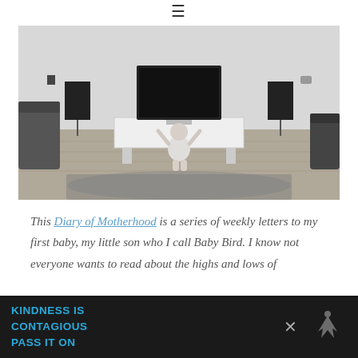≡
[Figure (photo): Black and white photo of a baby sitting on the floor in front of a TV on a white media console, flanked by two speakers, with a rug and chairs visible]
This Diary of Motherhood is a series of weekly letters to my first baby, my little son who I call Baby Bird. I know not everyone wants to read about the highs and lows of
[Figure (infographic): Advertisement banner with dark background reading: KINDNESS IS CONTAGIOUS PASS IT ON in blue text, with a close button X and a logo on the right]